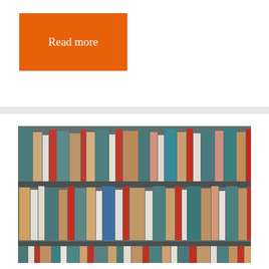[Figure (other): Orange button with white text reading 'Read more']
[Figure (photo): Photograph of colorful books arranged on multiple bookshelves, including teal, red, beige, and white books in a dense library-style arrangement.]